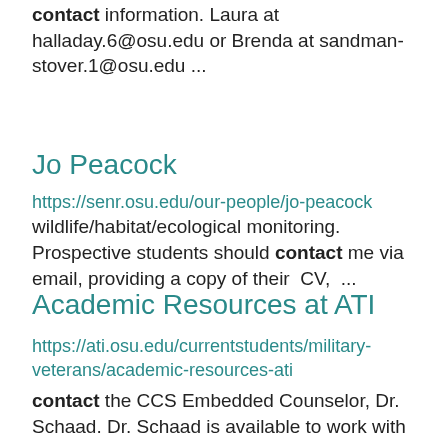contact information. Laura at halladay.6@osu.edu or Brenda at sandman-stover.1@osu.edu ...
Jo Peacock
https://senr.osu.edu/our-people/jo-peacock wildlife/habitat/ecological monitoring. Prospective students should contact me via email, providing a copy of their CV, ...
Academic Resources at ATI
https://ati.osu.edu/currentstudents/military-veterans/academic-resources-ati
contact the CCS Embedded Counselor, Dr. Schaad. Dr. Schaad is available to work with